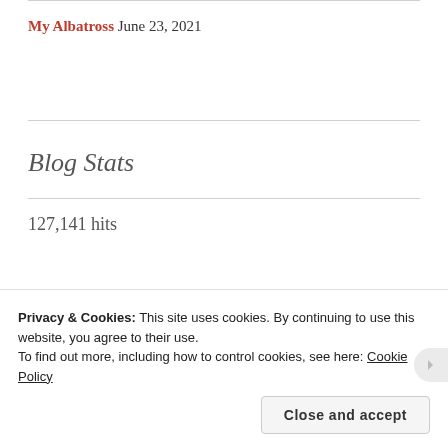My Albatross June 23, 2021
Blog Stats
127,141 hits
Follow Olive Out Navy Wife via Email
Privacy & Cookies: This site uses cookies. By continuing to use this website, you agree to their use. To find out more, including how to control cookies, see here: Cookie Policy
Close and accept